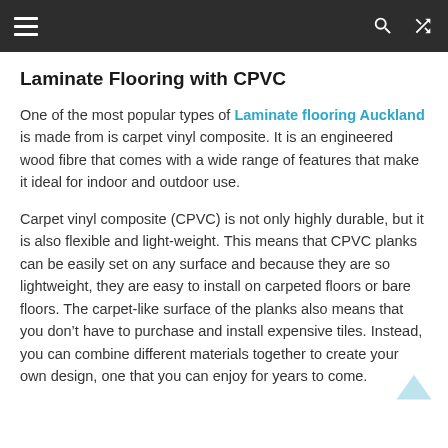Navigation bar with hamburger menu, search icon, and shuffle icon
Laminate Flooring with CPVC
One of the most popular types of Laminate flooring Auckland is made from is carpet vinyl composite. It is an engineered wood fibre that comes with a wide range of features that make it ideal for indoor and outdoor use.
Carpet vinyl composite (CPVC) is not only highly durable, but it is also flexible and light-weight. This means that CPVC planks can be easily set on any surface and because they are so lightweight, they are easy to install on carpeted floors or bare floors. The carpet-like surface of the planks also means that you don’t have to purchase and install expensive tiles. Instead, you can combine different materials together to create your own design, one that you can enjoy for years to come.